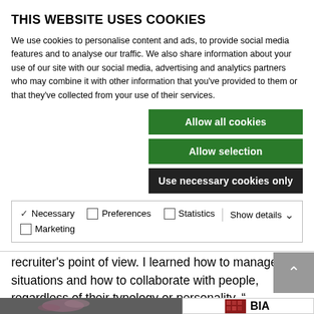THIS WEBSITE USES COOKIES
We use cookies to personalise content and ads, to provide social media features and to analyse our traffic. We also share information about your use of our site with our social media, advertising and analytics partners who may combine it with other information that you’ve provided to them or that they’ve collected from your use of their services.
Allow all cookies
Allow selection
Use necessary cookies only
Necessary  Preferences  Statistics  Marketing  Show details
After this period, I know how a correct resume should look like, in order to attract the employer’s attention and about how to analyze the resumes from a recruiter’s point of view. I learned how to manage situations and how to collaborate with people, regardless of their typology or personality. ”
[Figure (photo): Partial view of a pink rose flower on dark background]
[Figure (logo): BIA logo with red/burgundy pattern on left side]